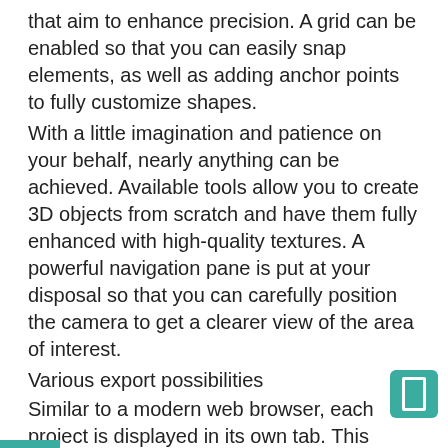that aim to enhance precision. A grid can be enabled so that you can easily snap elements, as well as adding anchor points to fully customize shapes.
With a little imagination and patience on your behalf, nearly anything can be achieved. Available tools allow you to create 3D objects from scratch and have them fully enhanced with high-quality textures. A powerful navigation pane is put at your disposal so that you can carefully position the camera to get a clearer view of the area of interest.
Various export possibilities
Similar to a modern web browser, each project is displayed in its own tab. This comes in handy, especially for comparison views. Moreover, layouts and layers also play important roles, as it makes objects handling a little easier.
Sine the application is not the easiest to carry around, requiring a slightly sophisticated machine to properly run, there are several export options put at your disposal so that the projects itself can be moved around.
Aside from the application specific format, you can save